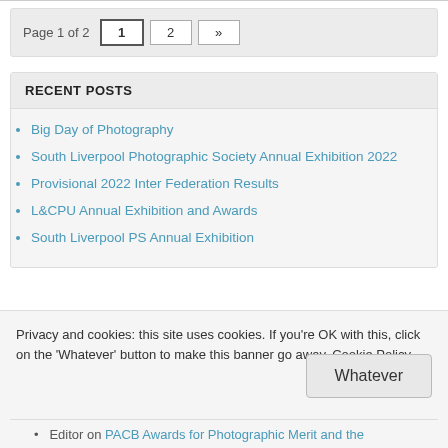Page 1 of 2  1  2  »
RECENT POSTS
Big Day of Photography
South Liverpool Photographic Society Annual Exhibition 2022
Provisional 2022 Inter Federation Results
L&CPU Annual Exhibition and Awards
South Liverpool PS Annual Exhibition
Privacy and cookies: this site uses cookies. If you're OK with this, click on the 'Whatever' button to make this banner go away. Cookie Policy
Whatever
Editor on PACB Awards for Photographic Merit and the